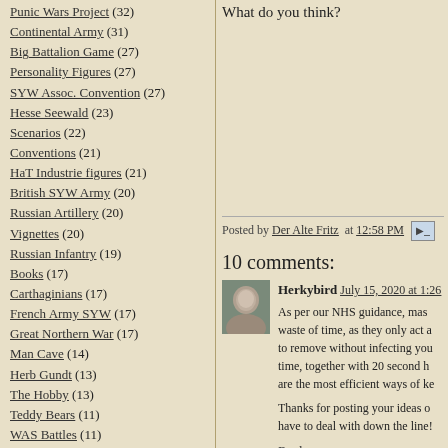Punic Wars Project (32)
Continental Army (31)
Big Battalion Game (27)
Personality Figures (27)
SYW Assoc. Convention (27)
Hesse Seewald (23)
Scenarios (22)
Conventions (21)
HaT Industrie figures (21)
British SYW Army (20)
Russian Artillery (20)
Vignettes (20)
Russian Infantry (19)
Books (17)
Carthaginians (17)
French Army SYW (17)
Great Northern War (17)
Man Cave (14)
Herb Gundt (13)
The Hobby (13)
Teddy Bears (11)
WAS Battles (11)
Blog Info (10)
Republican Romans (10)
Jacobite Rebellion (9)
Battlefields (3)
Blog Archive
What do you think?
Posted by Der Alte Fritz at 12:58 PM
10 comments:
Herkybird July 15, 2020 at 1:26 As per our NHS guidance, masks are a waste of time, as they only act as a tool to remove without infecting your hands time, together with 20 second hand are the most efficient ways of ke Thanks for posting your ideas on have to deal with down the line!
Reply